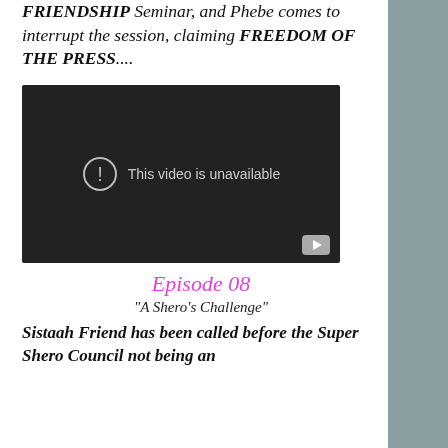FRIENDSHIP Seminar, and Phebe comes to interrupt the session, claiming FREEDOM OF THE PRESS....
[Figure (screenshot): Embedded video player showing 'This video is unavailable' message with a YouTube play button in the bottom right corner. Dark background.]
Episode 08
"A Shero's Challenge"
Sistaah Friend has been called before the Super Shero Council not being an